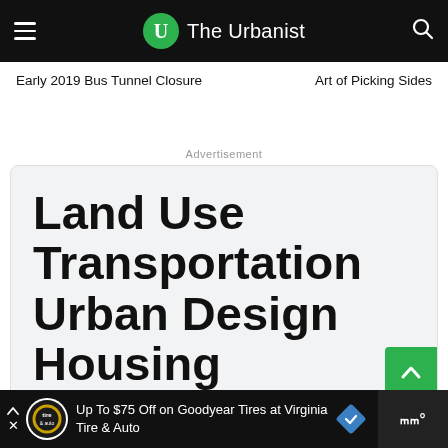The Urbanist
Early 2019 Bus Tunnel Closure
Art of Picking Sides
Advertisement
Land Use Transportation Urban Design Housing
Up To $75 Off on Goodyear Tires at Virginia Tire & Auto